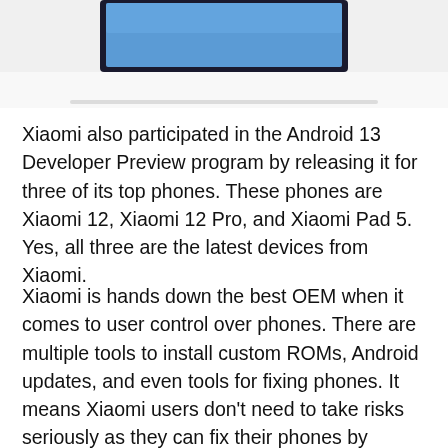[Figure (photo): Partial photo showing a device (likely a smartphone or tablet) on a light gray/white surface, only the bottom portion visible]
Xiaomi also participated in the Android 13 Developer Preview program by releasing it for three of its top phones. These phones are Xiaomi 12, Xiaomi 12 Pro, and Xiaomi Pad 5. Yes, all three are the latest devices from Xiaomi.
Xiaomi is hands down the best OEM when it comes to user control over phones. There are multiple tools to install custom ROMs, Android updates, and even tools for fixing phones. It means Xiaomi users don't need to take risks seriously as they can fix their phones by themselves considering the bootloader is unlocked.